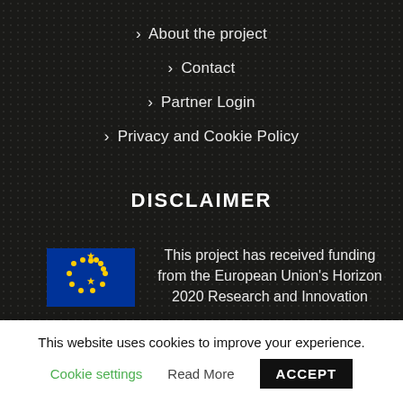> About the project
> Contact
> Partner Login
> Privacy and Cookie Policy
DISCLAIMER
[Figure (logo): European Union flag with yellow stars on blue background]
This project has received funding from the European Union's Horizon 2020 Research and Innovation
This website uses cookies to improve your experience.
Cookie settings   Read More   ACCEPT